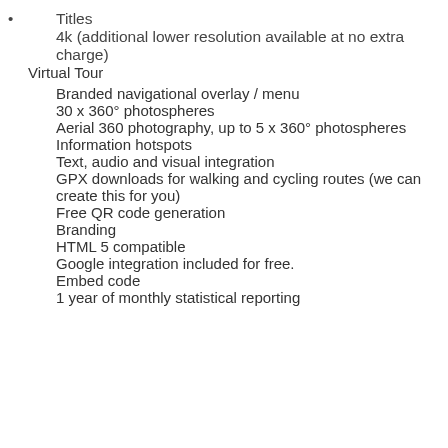Titles
4k (additional lower resolution available at no extra charge)
Virtual Tour
Branded navigational overlay / menu
30 x 360° photospheres
Aerial 360 photography, up to 5 x 360° photospheres
Information hotspots
Text, audio and visual integration
GPX downloads for walking and cycling routes (we can create this for you)
Free QR code generation
Branding
HTML 5 compatible
Google integration included for free.
Embed code
1 year of monthly statistical reporting